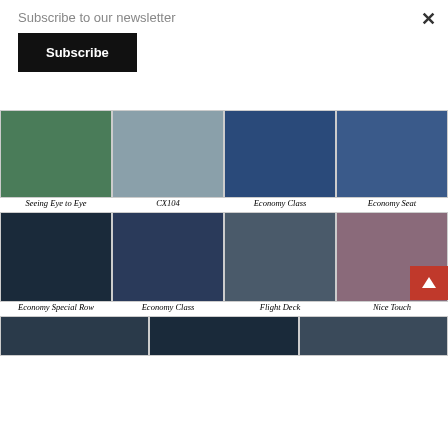Subscribe to our newsletter
Subscribe
[Figure (photo): Grid of airplane interior and exterior photos with captions: Seeing Eye to Eye, CX104, Economy Class, Economy Seat, Economy Special Row, Economy Class, Flight Deck, Nice Touch, and partial bottom row of photos]
Seeing Eye to Eye
CX104
Economy Class
Economy Seat
Economy Special Row
Economy Class
Flight Deck
Nice Touch